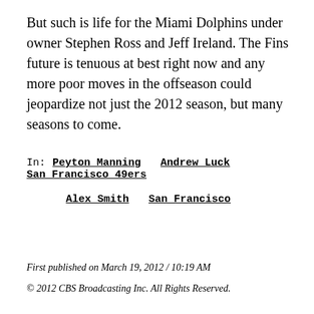But such is life for the Miami Dolphins under owner Stephen Ross and Jeff Ireland. The Fins future is tenuous at best right now and any more poor moves in the offseason could jeopardize not just the 2012 season, but many seasons to come.
In: Peyton Manning   Andrew Luck   San Francisco 49ers
Alex Smith   San Francisco
First published on March 19, 2012 / 10:19 AM
© 2012 CBS Broadcasting Inc. All Rights Reserved.